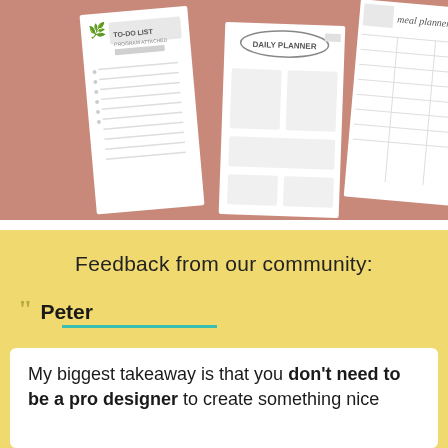[Figure (photo): Collection of printable planner pages (to-do list, daily planner, meal planner) arranged on a rose/terracotta background]
Feedback from our community:
Peter
My biggest takeaway is that you don't need to be a pro designer to create something nice